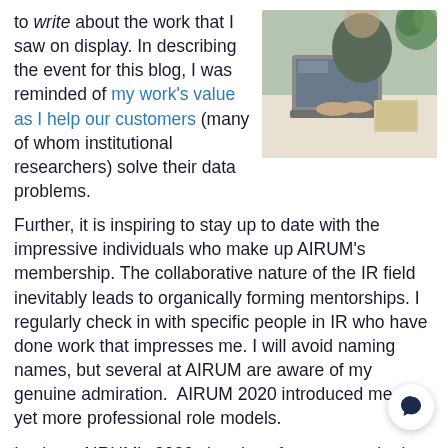to write about the work that I saw on display. In describing the event for this blog, I was reminded of my work's value as I help our customers (many of whom institutional researchers) solve their data problems.
[Figure (photo): Person working on a laptop at a desk, viewed from above at an angle, with a notebook nearby and plants in background]
Further, it is inspiring to stay up to date with the impressive individuals who make up AIRUM's membership. The collaborative nature of the IR field inevitably leads to organically forming mentorships. I regularly check in with specific people in IR who have done work that impresses me. I will avoid naming names, but several at AIRUM are aware of my genuine admiration.  AIRUM 2020 introduced me to yet more professional role models.
In short: AIRUM's 2020 virtual conference was both a win" and something I eagerly look forward to in 2021!